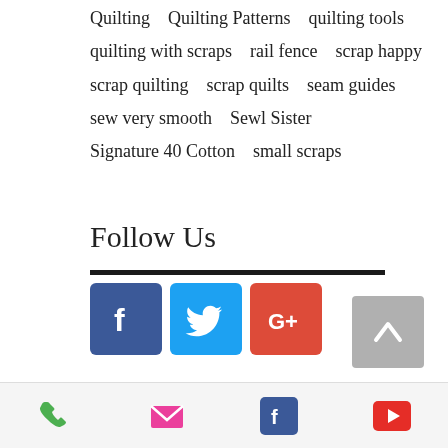Quilting   Quilting Patterns   quilting tools   quilting with scraps   rail fence   scrap happy   scrap quilting   scrap quilts   seam guides   sew very smooth   Sewl Sister   Signature 40 Cotton   small scraps
Follow Us
[Figure (infographic): Social media icon buttons: Facebook (blue), Twitter (light blue), Google+ (red)]
[Figure (infographic): Back to top button with upward chevron arrow on grey background]
[Figure (infographic): Bottom navigation bar with phone, email, Facebook, and YouTube icons]